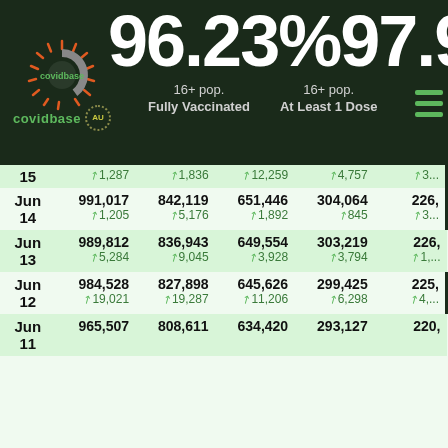[Figure (infographic): Covidbase AU logo — stylized coronavirus icon in orange/grey on dark background with 'covidbase AU' text]
96.23% 97.91%
16+ pop. Fully Vaccinated   16+ pop. At Least 1 Dose
| Date | Col1 | Col2 | Col3 | Col4 | Col5 |
| --- | --- | --- | --- | --- | --- |
| 15 | ↗1,287 | ↗1,836 | ↗12,259 | ↗4,757 | ↗3... |
| Jun 14 | 991,017 ↗1,205 | 842,119 ↗5,176 | 651,446 ↗1,892 | 304,064 ↗845 | 226,... ↗3... |
| Jun 13 | 989,812 ↗5,284 | 836,943 ↗9,045 | 649,554 ↗3,928 | 303,219 ↗3,794 | 226,... ↗1,... |
| Jun 12 | 984,528 ↗19,021 | 827,898 ↗19,287 | 645,626 ↗11,206 | 299,425 ↗6,298 | 225,... ↗4,... |
| Jun 11 | 965,507 | 808,611 | 634,420 | 293,127 | 220,... |